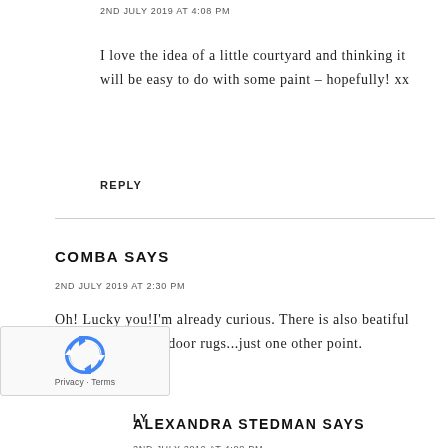2ND JULY 2019 AT 4:08 PM
I love the idea of a little courtyard and thinking it will be easy to do with some paint – hopefully! xx
REPLY
COMBA SAYS
2ND JULY 2019 AT 2:30 PM
Oh! Lucky you!I'm already curious. There is also beatiful (and practical) outdoor rugs...just one other point.
LY
ALEXANDRA STEDMAN SAYS
2ND JULY 2019 AT 4:08 PM